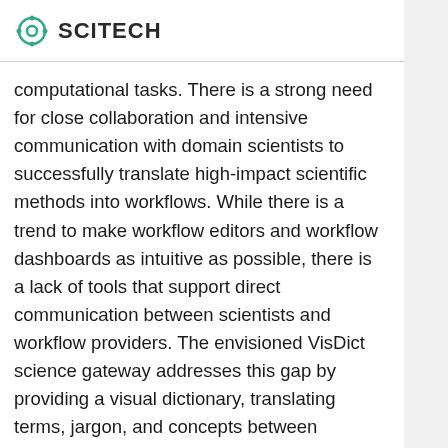SCITECH
computational tasks. There is a strong need for close collaboration and intensive communication with domain scientists to successfully translate high-impact scientific methods into workflows. While there is a trend to make workflow editors and workflow dashboards as intuitive as possible, there is a lack of tools that support direct communication between scientists and workflow providers. The envisioned VisDict science gateway addresses this gap by providing a visual dictionary, translating terms, jargon, and concepts between research domains and workflow providers. The goal is to avoid misunderstandings, i.e. resulting from using the same word in different meanings such as the term ‘experiment’.